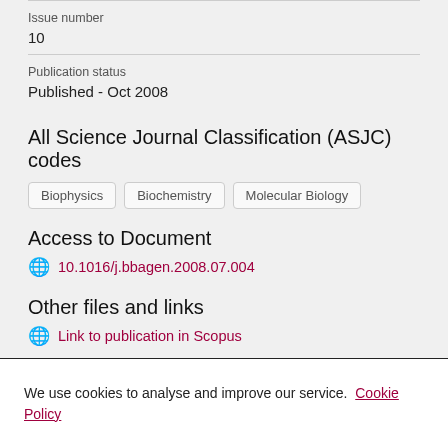Issue number
10
Publication status
Published - Oct 2008
All Science Journal Classification (ASJC) codes
Biophysics
Biochemistry
Molecular Biology
Access to Document
10.1016/j.bbagen.2008.07.004
Other files and links
Link to publication in Scopus
We use cookies to analyse and improve our service. Cookie Policy